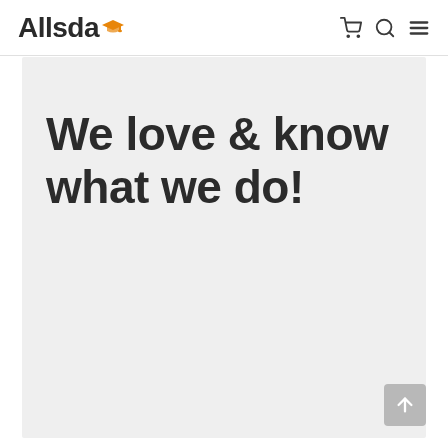Allsda
We love & know what we do!